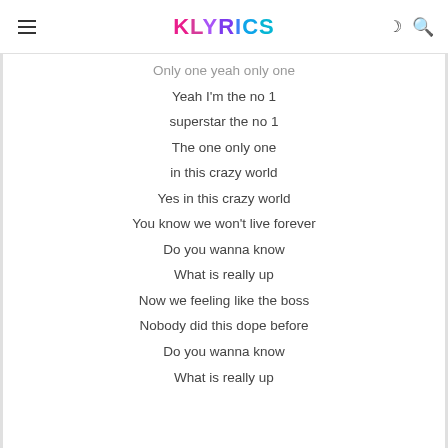KLYRICS
Only one yeah only one
Yeah I'm the no 1
superstar the no 1
The one only one
in this crazy world
Yes in this crazy world
You know we won't live forever
Do you wanna know
What is really up
Now we feeling like the boss
Nobody did this dope before
Do you wanna know
What is really up